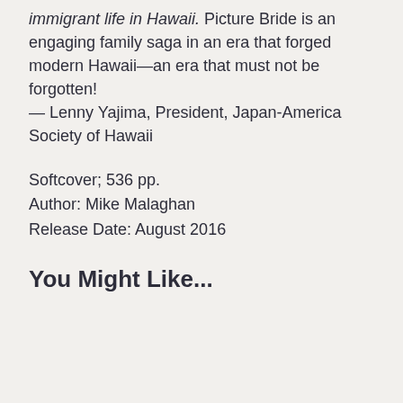immigrant life in Hawaii. Picture Bride is an engaging family saga in an era that forged modern Hawaii—an era that must not be forgotten!
— Lenny Yajima, President, Japan-America Society of Hawaii
Softcover; 536 pp.
Author: Mike Malaghan
Release Date: August 2016
You Might Like...